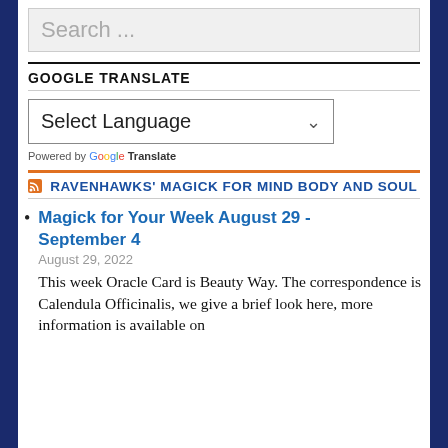Search ...
GOOGLE TRANSLATE
Select Language
Powered by Google Translate
RAVENHAWKS' MAGICK FOR MIND BODY AND SOUL
Magick for Your Week August 29 - September 4
August 29, 2022
This week Oracle Card is Beauty Way. The correspondence is Calendula Officinalis, we give a brief look here, more information is available on